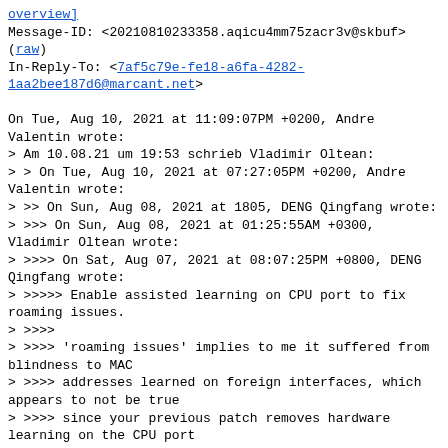[overview]
Message-ID: <20210810233358.aqicu4mm75zacr3v@skbuf>
(raw)
In-Reply-To: <7af5c79e-fe18-a6fa-4282-1aa2bee187d6@marcant.net>

On Tue, Aug 10, 2021 at 11:09:07PM +0200, Andre Valentin wrote:
> Am 10.08.21 um 19:53 schrieb Vladimir Oltean:
> > On Tue, Aug 10, 2021 at 07:27:05PM +0200, Andre Valentin wrote:
> >> On Sun, Aug 08, 2021 at 1805, DENG Qingfang wrote:
> >>> On Sun, Aug 08, 2021 at 01:25:55AM +0300, Vladimir Oltean wrote:
> >>>> On Sat, Aug 07, 2021 at 08:07:25PM +0800, DENG Qingfang wrote:
> >>>>> Enable assisted learning on CPU port to fix roaming issues.
> >>>>
> >>>> 'roaming issues' implies to me it suffered from blindness to MAC
> >>>> addresses learned on foreign interfaces, which appears to not be true
> >>>> since your previous patch removes hardware learning on the CPU port
> >>>> (=> hardware learning on the CPU port was supported, so there were no
> >>>> roaming issues)
> >>
> >> The issue is with a wifi AP bridged into dsa and
previously learned